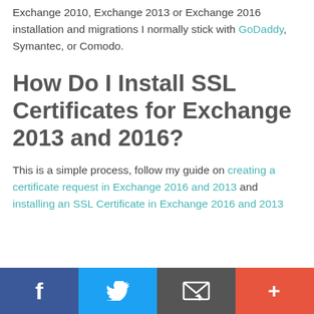Exchange 2010, Exchange 2013 or Exchange 2016 installation and migrations I normally stick with GoDaddy, Symantec, or Comodo.
How Do I Install SSL Certificates for Exchange 2013 and 2016?
This is a simple process, follow my guide on creating a certificate request in Exchange 2016 and 2013 and installing an SSL Certificate in Exchange 2016 and 2013
Social share bar: Facebook, Twitter, Email, More